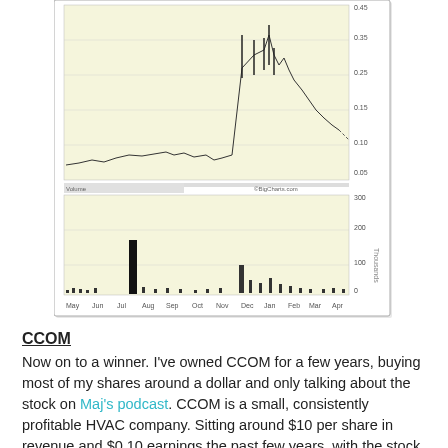[Figure (continuous-plot): Stock price chart for CCOM showing price history from May through April with candlestick/line price chart on top and volume bars on bottom. Price range approximately 0.05 to 0.45. X-axis labels: May, Jun, Jul, Aug, Sep, Oct, Nov, Dec, Jan, Feb, Mar, Apr. Watermark: BigCharts.com]
CCOM
Now on to a winner.  I've owned CCOM for a few years, buying most of my shares around a dollar and only talking about the stock on Maj's podcast.  CCOM is a small, consistently profitable HVAC company. Sitting around $10 per share in revenue and $0.10 earnings the past few years, with the stock near a buck.
I never wrote it up since it's a story I've told before: small, boring, and cheap.

Recently a buyout at $2.71 was announced.  It was a good premium so hard to argue with but then only a few weeks later they put out an annual with $0.54 EPS after backing out